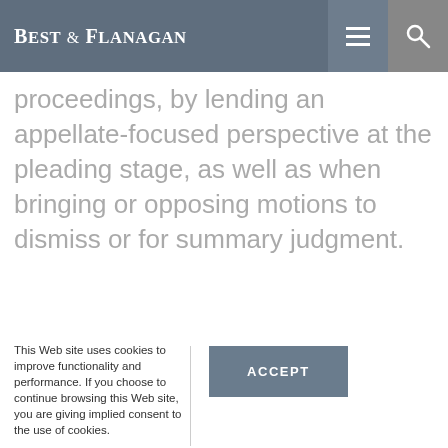Best & Flanagan
proceedings, by lending an appellate-focused perspective at the pleading stage, as well as when bringing or opposing motions to dismiss or for summary judgment.
This Web site uses cookies to improve functionality and performance. If you choose to continue browsing this Web site, you are giving implied consent to the use of cookies.